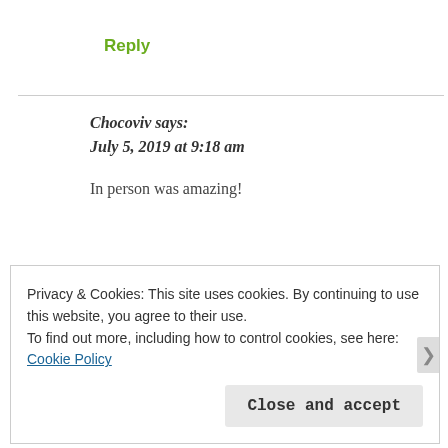Reply
Chocoviv says:
July 5, 2019 at 9:18 am
In person was amazing!
Liked by 2 people
Privacy & Cookies: This site uses cookies. By continuing to use this website, you agree to their use.
To find out more, including how to control cookies, see here: Cookie Policy
Close and accept